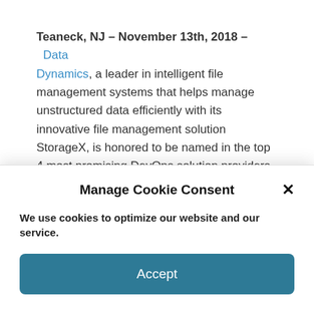Teaneck, NJ – November 13th, 2018 – Data Dynamics, a leader in intelligent file management systems that helps manage unstructured data efficiently with its innovative file management solution StorageX, is honored to be named in the top 4 most promising DevOps solution providers of the year.

With our increasing dependence on technology, different companies have discovered new ways to
Manage Cookie Consent
We use cookies to optimize our website and our service.